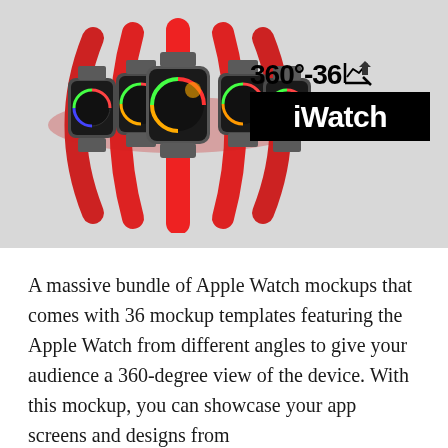[Figure (illustration): Product banner showing five Apple Watch devices arranged in a 360-degree globe/sphere formation with red bands, set against a light gray background. On the right side, large bold text reads '360°-36' with a cursor icon and below it a black box reading 'iWatch'.]
A massive bundle of Apple Watch mockups that comes with 36 mockup templates featuring the Apple Watch from different angles to give your audience a 360-degree view of the device. With this mockup, you can showcase your app screens and designs from